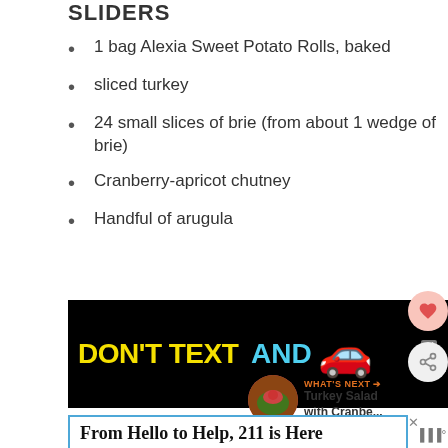SLIDERS
1 bag Alexia Sweet Potato Rolls, baked
sliced turkey
24 small slices of brie (from about 1 wedge of brie)
Cranberry-apricot chutney
Handful of arugula
[Figure (infographic): Advertisement banner: DON'T TEXT AND [car emoji] with NHTSA logo on black background]
[Figure (infographic): WHAT'S NEXT arrow with Turkey Salad with Cranbe... thumbnail]
[Figure (infographic): Advertisement: From Hello to Help, 211 is Here - Food • Housing • Utilities Assistance • Mental Health]